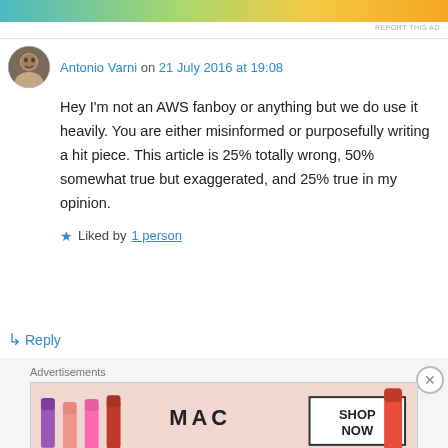[Figure (other): Top advertisement banner with gradient colors (teal, green, yellow, orange)]
REPORT THIS AD
Antonio Varni on 21 July 2016 at 19:08
Hey I'm not an AWS fanboy or anything but we do use it heavily. You are either misinformed or purposefully writing a hit piece. This article is 25% totally wrong, 50% somewhat true but exaggerated, and 25% true in my opinion.
★ Liked by 1 person
↳ Reply
Advertisements
[Figure (photo): MAC cosmetics advertisement showing lipsticks with SHOP NOW button]